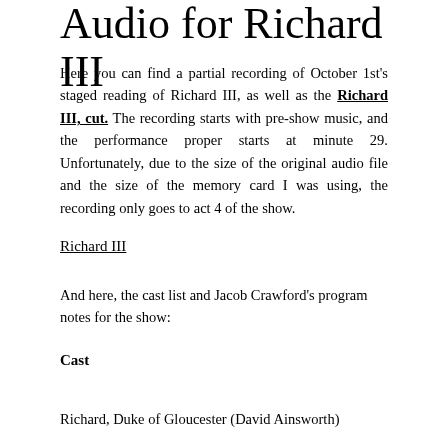Audio for Richard III
Here you can find a partial recording of October 1st's staged reading of Richard III, as well as the Richard III, cut. The recording starts with pre-show music, and the performance proper starts at minute 29. Unfortunately, due to the size of the original audio file and the size of the memory card I was using, the recording only goes to act 4 of the show.
Richard III
And here, the cast list and Jacob Crawford's program notes for the show:
Cast
Richard, Duke of Gloucester (David Ainsworth)